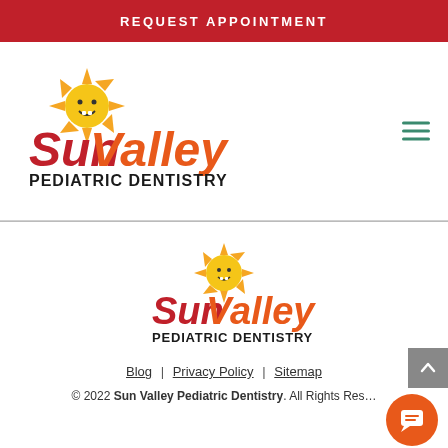REQUEST APPOINTMENT
[Figure (logo): Sun Valley Pediatric Dentistry logo with sun mascot - header version]
[Figure (logo): Sun Valley Pediatric Dentistry logo with sun mascot - footer version]
Blog | Privacy Policy | Sitemap
© 2022 Sun Valley Pediatric Dentistry. All Rights Reserved.